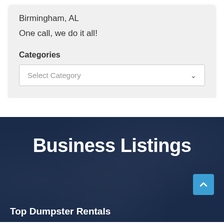Birmingham, AL
One call, we do it all!
Categories
Select Category
Business Listings
Top Dumpster Rentals